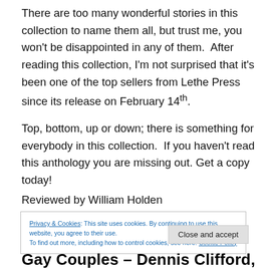There are too many wonderful stories in this collection to name them all, but trust me, you won't be disappointed in any of them.  After reading this collection, I'm not surprised that it's been one of the top sellers from Lethe Press since its release on February 14th.
Top, bottom, up or down; there is something for everybody in this collection.  If you haven't read this anthology you are missing out. Get a copy today!
Reviewed by William Holden
Privacy & Cookies: This site uses cookies. By continuing to use this website, you agree to their use.
To find out more, including how to control cookies, see here: Cookie Policy
Gay Couples – Dennis Clifford,